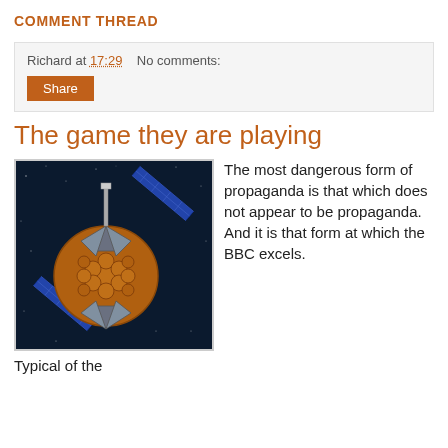COMMENT THREAD
Richard at 17:29    No comments:
Share
The game they are playing
[Figure (photo): Illustration of a satellite in space with blue solar panels and a circular dish with orange/brown circles, against a dark starfield background.]
The most dangerous form of propaganda is that which does not appear to be propaganda. And it is that form at which the BBC excels.
Typical of the